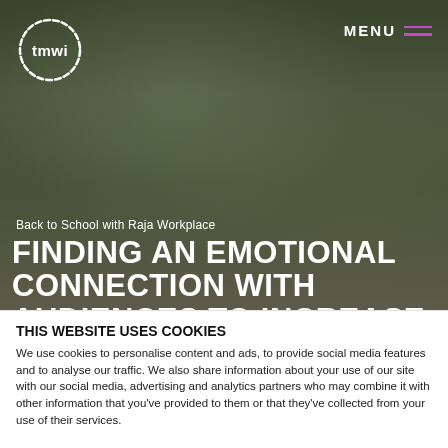[Figure (photo): Hero section with classroom background showing students raising hands and a teacher at the front, overlaid with dark tint]
tmwi logo and MENU navigation
Back to School with Raja Workplace
FINDING AN EMOTIONAL CONNECTION WITH AUDIENCES TO INCREASE WEBSITE SALES BY 76% DURING LOCKDOWN
THIS WEBSITE USES COOKIES
We use cookies to personalise content and ads, to provide social media features and to analyse our traffic. We also share information about your use of our site with our social media, advertising and analytics partners who may combine it with other information that you've provided to them or that they've collected from your use of their services.